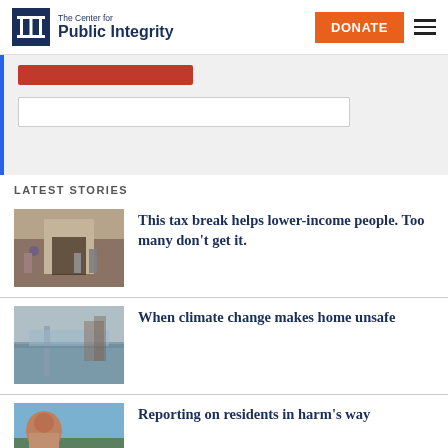The Center for Public Integrity
[Figure (screenshot): Red bar / form element in gray box area]
LATEST STORIES
[Figure (photo): People walking outside a stone building]
This tax break helps lower-income people. Too many don't get it.
[Figure (photo): Canal or waterway with cloudy sky]
When climate change makes home unsafe
[Figure (photo): Portrait of a woman outdoors with trees]
Reporting on residents in harm's way